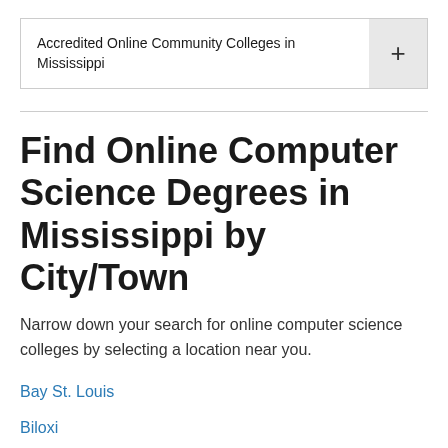Accredited Online Community Colleges in Mississippi
Find Online Computer Science Degrees in Mississippi by City/Town
Narrow down your search for online computer science colleges by selecting a location near you.
Bay St. Louis
Biloxi
Brandon